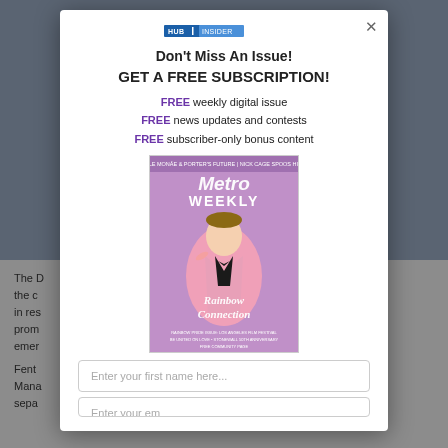[Figure (screenshot): Background page with a photo of a person in a suit near an American flag (top) and partial article text (bottom), dimmed behind a modal overlay]
Don't Miss An Issue!
GET A FREE SUBSCRIPTION!
FREE weekly digital issue
FREE news updates and contests
FREE subscriber-only bonus content
[Figure (illustration): Metro Weekly magazine cover showing a man in a pink sequined tuxedo jacket with a bow tie, holding pink glasses, with the text 'Rainbow Connection' overlaid]
Enter your first name here...
Enter your email here...